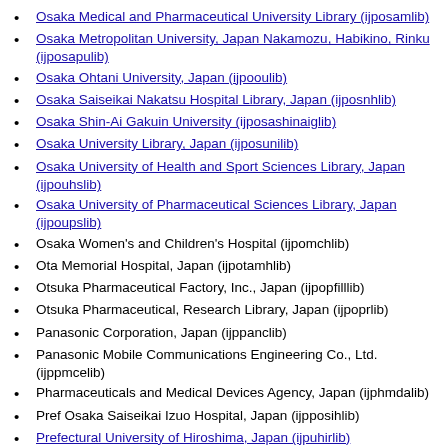Osaka Medical and Pharmaceutical University Library (ijposamlib)
Osaka Metropolitan University, Japan Nakamozu, Habikino, Rinku (ijposapulib)
Osaka Ohtani University, Japan (ijpooulib)
Osaka Saiseikai Nakatsu Hospital Library, Japan (ijposnhlib)
Osaka Shin-Ai Gakuin University (ijposashinaiglib)
Osaka University Library, Japan (ijposunilib)
Osaka University of Health and Sport Sciences Library, Japan (ijpouhslib)
Osaka University of Pharmaceutical Sciences Library, Japan (ijpoupslib)
Osaka Women's and Children's Hospital (ijpomchlib)
Ota Memorial Hospital, Japan (ijpotamhlib)
Otsuka Pharmaceutical Factory, Inc., Japan (ijpopfilllib)
Otsuka Pharmaceutical, Research Library, Japan (ijpoprlib)
Panasonic Corporation, Japan (ijppanclib)
Panasonic Mobile Communications Engineering Co., Ltd. (ijppmcelib)
Pharmaceuticals and Medical Devices Agency, Japan (ijphmdalib)
Pref Osaka Saiseikai Izuo Hospital, Japan (ijpposihlib)
Prefectural University of Hiroshima, Japan (ijpuhirlib)